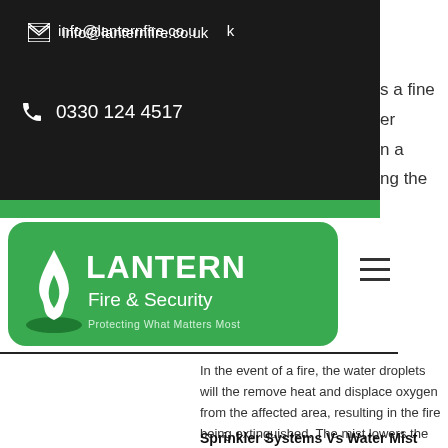info@lanternfire.co.uk | 0330 124 4517
[Figure (logo): Lantern Fire & Security logo — green rounded rectangle with flame icon and text 'LANTERN Fire & Security, Protecting What Matters Most']
In the event of a fire, the water droplets will the remove heat and displace oxygen from the affected area, resulting in the fire being extinguished. The mist lowers the temperature, lessens the radiated heat and reduces the oxygen concentration to the extent that combustion can no longer be maintained.
Sprinkler Systems Vs Water Mist